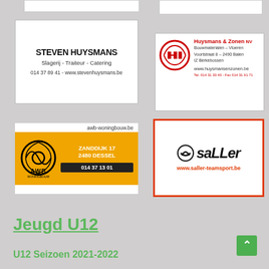[Figure (logo): Steven Huysmans Slagerij - Traiteur - Catering advertisement with phone and website]
[Figure (logo): Huysmans & Zonen NV Bouwmaterialen - Vloeren advertisement with address and logo]
[Figure (logo): AWB Woningbouw advertisement with address Zanddijk 17, 2480 Dessel and phone 014 37 13 01]
[Figure (logo): Saller teamsport advertisement with www.saller-teamsport.be]
Jeugd U12
U12 Seizoen 2021-2022